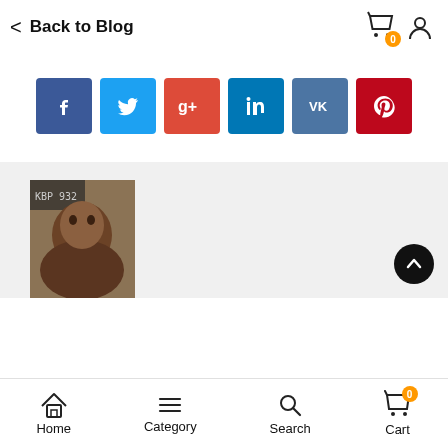< Back to Blog
[Figure (infographic): Social share buttons row: Facebook (dark blue), Twitter (light blue), Google+ (red), LinkedIn (teal blue), VK (steel blue), Pinterest (dark red)]
[Figure (photo): Partial photo of a person's face/head, cropped, on a light grey background section]
Home  Category  Search  Cart